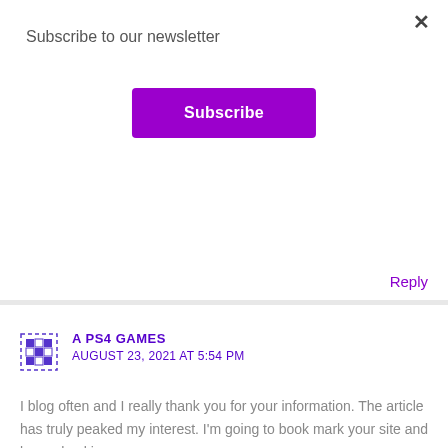Subscribe to our newsletter
×
Subscribe
Reply
A PS4 GAMES
AUGUST 23, 2021 AT 5:54 PM
I blog often and I really thank you for your information. The article has truly peaked my interest. I'm going to book mark your site and keep checking